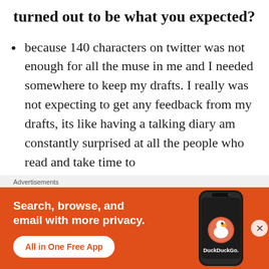turned out to be what you expected?
because 140 characters on twitter was not enough for all the muse in me and I needed somewhere to keep my drafts. I really was not expecting to get any feedback from my drafts, its like having a talking diary am constantly surprised at all the people who read and take time to interact with me in these here blogging
[Figure (screenshot): DuckDuckGo advertisement banner: orange background with text 'Search, browse, and email with more privacy. All in One Free App' and a phone mockup with DuckDuckGo logo]